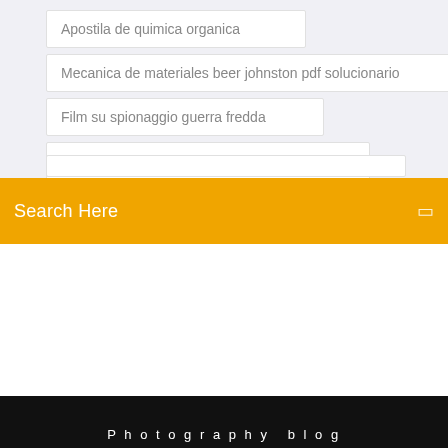Apostila de quimica organica
Mecanica de materiales beer johnston pdf solucionario
Film su spionaggio guerra fredda
Cadenas musculares busquet pdf gratis
[Figure (screenshot): Orange search bar with 'Search Here' text in white and a search icon on the right]
Photography blog